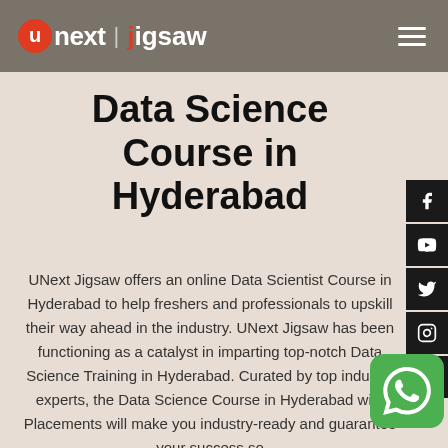UNext | Jigsaw
Data Science Course in Hyderabad
UNext Jigsaw offers an online Data Scientist Course in Hyderabad to help freshers and professionals to upskill their way ahead in the industry. UNext Jigsaw has been functioning as a catalyst in imparting top-notch Data Science Training in Hyderabad. Curated by top industry experts, the Data Science Course in Hyderabad with Placements will make you industry-ready and guarantee your success so